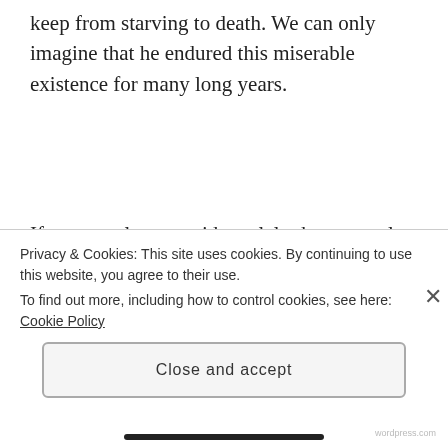keep from starving to death. We can only imagine that he endured this miserable existence for many long years.
If we ourselves consider solely the external appearances of this world, using these eyes we have, which for the most part work pretty well—if we walk solely by sight, in other words, we will find ourselves
Privacy & Cookies: This site uses cookies. By continuing to use this website, you agree to their use.
To find out more, including how to control cookies, see here: Cookie Policy
Close and accept